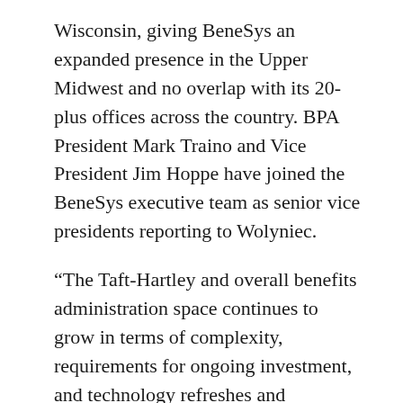Wisconsin, giving BeneSys an expanded presence in the Upper Midwest and no overlap with its 20-plus offices across the country. BPA President Mark Traino and Vice President Jim Hoppe have joined the BeneSys executive team as senior vice presidents reporting to Wolyniec.
“The Taft-Hartley and overall benefits administration space continues to grow in terms of complexity, requirements for ongoing investment, and technology refreshes and enhancement,” Wolyniec said. “Leveraging our combined resources will allow us to respond to changing market conditions while remaining high-quality, reliable partners to our clients.”
BeneSys has provided Taft-Hartley trust fund